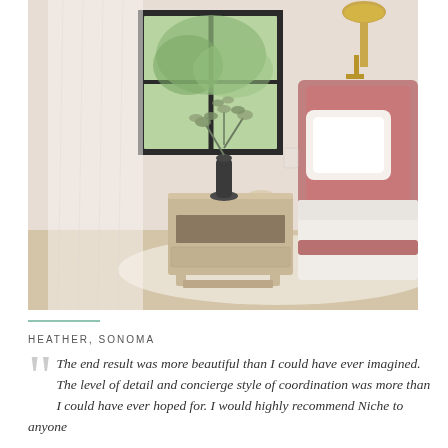[Figure (photo): Interior bedroom photo showing a wooden nightstand with a vase of eucalyptus, a pink upholstered bed with white bedding, a black-framed window with sheer curtains, and a brass wall sconce light. Walls are light pink/marble-look, floor is light wood with a cream rug.]
HEATHER, SONOMA
The end result was more beautiful than I could have ever imagined. The level of detail and concierge style of coordination was more than I could have ever hoped for. I would highly recommend Niche to anyone